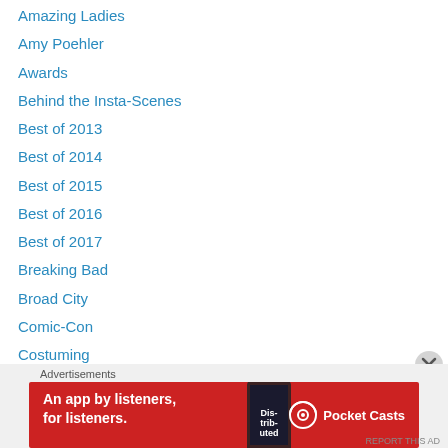Amazing Ladies
Amy Poehler
Awards
Behind the Insta-Scenes
Best of 2013
Best of 2014
Best of 2015
Best of 2016
Best of 2017
Breaking Bad
Broad City
Comic-Con
Costuming
Crazy Ex-Girlfriend
Dawson's Creek
Divorce
[Figure (screenshot): Advertisement banner for Pocket Casts app. Red background with white text: 'An app by listeners, for listeners.' Pocket Casts logo on the right.]